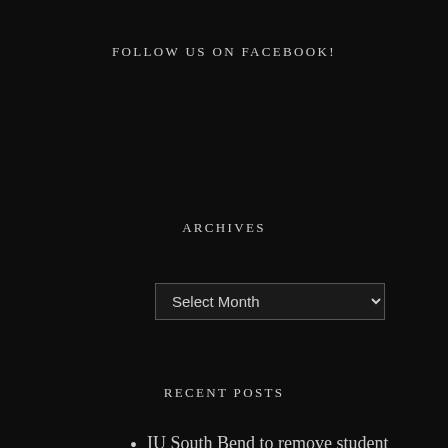FOLLOW US ON FACEBOOK!
ARCHIVES
Select Month
RECENT POSTS
IU South Bend to remove student parking pass cost
Titan tails
On and off campus critters